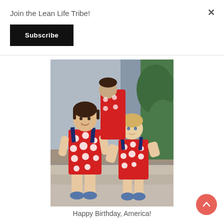Join the Lean Life Tribe!
Subscribe
[Figure (photo): Two young girls wearing matching red polka-dot rompers with navy straps and blue shoes, standing on outdoor steps. A third child partially visible in background also wearing red polka-dot outfit.]
Happy Birthday, America!